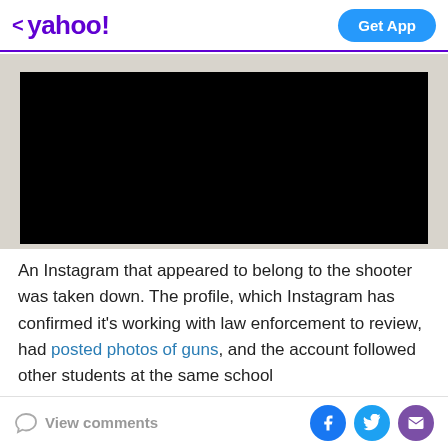< yahoo!   Get App
[Figure (photo): Black rectangle representing a taken-down or unavailable video/image area on a gray background]
An Instagram that appeared to belong to the shooter was taken down. The profile, which Instagram has confirmed it's working with law enforcement to review, had posted photos of guns, and the account followed other students at the same school.
View comments   [Facebook] [Twitter] [Email]